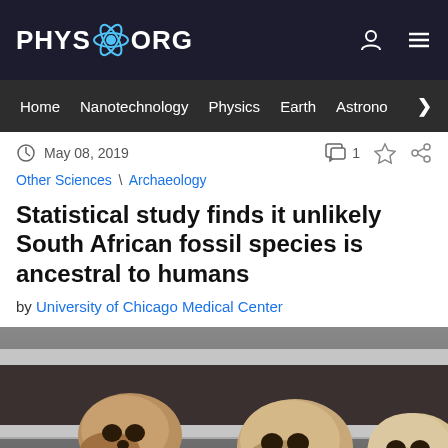PHYS.ORG
Home | Nanotechnology | Physics | Earth | Astronomy >
May 08, 2019
Other Sciences \ Archaeology
Statistical study finds it unlikely South African fossil species is ancestral to humans
by University of Chicago Medical Center
[Figure (photo): Three hominid fossil skulls displayed on a shelf in a storage facility]